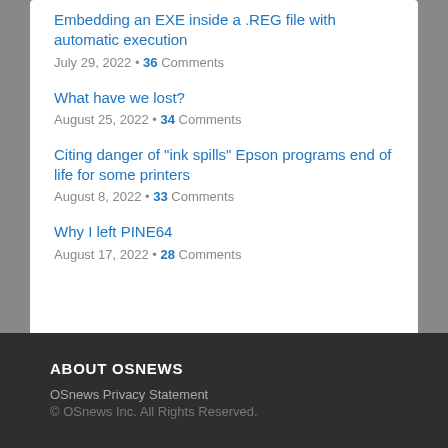Embedding an EXE inside a .REG file with automatic execution
July 29, 2022 • 36 Comments
What have we lost?
August 25, 2022 • 34 Comments
Citing danger of "ink spills" Epson programs end of life for some printers
August 8, 2022 • 33 Comments
Why I left PINE64
August 17, 2022 • 28 Comments
ABOUT OSNEWS
OSnews Privacy Statement
© OSnews Inc. All Rights Reserved.